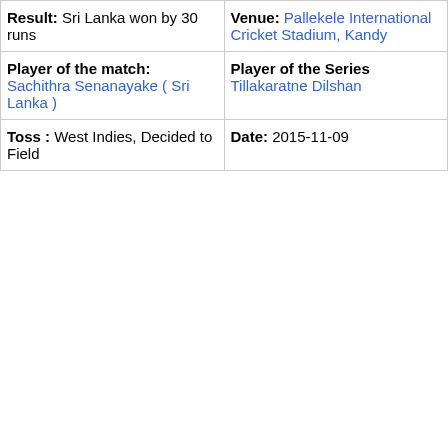| Result: Sri Lanka won by 30 runs | Venue: Pallekele International Cricket Stadium, Kandy |
| Player of the match: Sachithra Senanayake ( Sri Lanka ) | Player of the Series Tillakaratne Dilshan |
| Toss : West Indies, Decided to Field | Date: 2015-11-09 |